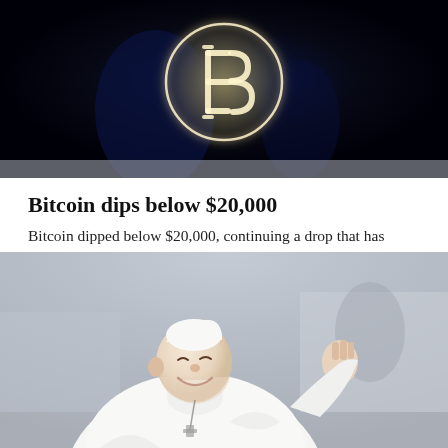[Figure (photo): Neon Bitcoin symbol glowing in orange/white against a dark navy/black background]
Bitcoin dips below $20,000
Bitcoin dipped below $20,000, continuing a drop that has taken it down nearly 60% from its year high.
[Figure (photo): Pope Francis smiling and waving, dressed in white papal vestments and zucchetto, photographed outdoors]